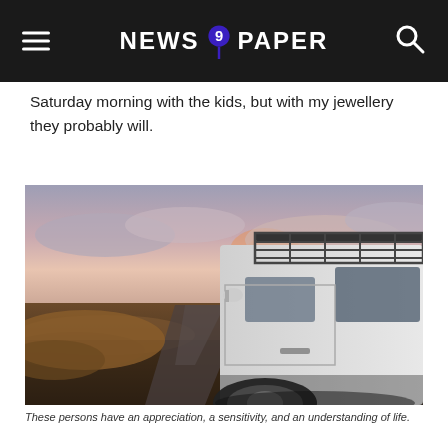NEWS 9 PAPER
Saturday morning with the kids, but with my jewellery they probably will.
[Figure (photo): A white Land Rover Defender with a roof rack parked on a gravel/dirt road in a remote moorland landscape at sunset with dramatic pink and grey cloudy sky.]
These persons have an appreciation, a sensitivity, and an understanding of life.